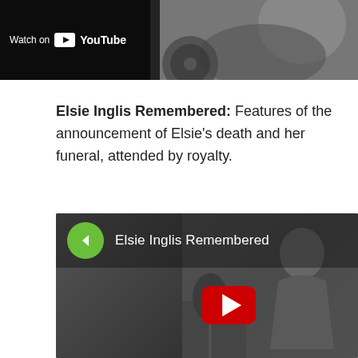[Figure (screenshot): Top portion of a YouTube video thumbnail showing a person in grayscale with a 'Watch on YouTube' overlay badge in dark background on the left side.]
Elsie Inglis Remembered: Features of the announcement of Elsie's death and her funeral, attended by royalty.
[Figure (screenshot): YouTube video thumbnail for 'Elsie Inglis Remembered' showing a grayscale photo of a person bending over, with a green circle play button icon in top-left and red YouTube play button in center.]